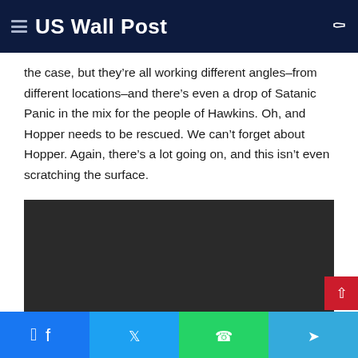US Wall Post
the case, but they’re all working different angles–from different locations–and there’s even a drop of Satanic Panic in the mix for the people of Hawkins. Oh, and Hopper needs to be rescued. We can’t forget about Hopper. Again, there’s a lot going on, and this isn’t even scratching the surface.
[Figure (photo): Dark/black image block, likely a video thumbnail or embedded media placeholder]
Facebook | Twitter | WhatsApp | Telegram share buttons